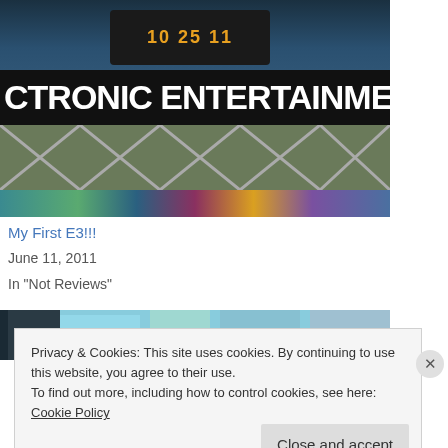[Figure (photo): Exterior photo of the Electronic Entertainment Expo (E3) venue building with a large black banner reading 'CTRONIC ENTERTAINMENT E' and a scoreboard showing '10 25 11', with colorful game posters along the bottom strip and structural trusses visible]
My First E3!!!
June 11, 2011
In "Not Reviews"
[Figure (photo): Partial view of a second photo showing colorful imagery, partially obscured by the cookie consent banner]
Privacy & Cookies: This site uses cookies. By continuing to use this website, you agree to their use.
To find out more, including how to control cookies, see here: Cookie Policy
Close and accept